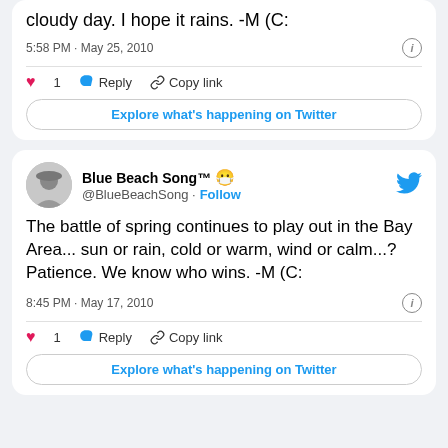cloudy day. I hope it rains. -M (C:
5:58 PM · May 25, 2010
1  Reply  Copy link
Explore what's happening on Twitter
Blue Beach Song™ 😷 @BlueBeachSong · Follow
The battle of spring continues to play out in the Bay Area... sun or rain, cold or warm, wind or calm...? Patience. We know who wins. -M (C:
8:45 PM · May 17, 2010
1  Reply  Copy link
Explore what's happening on Twitter